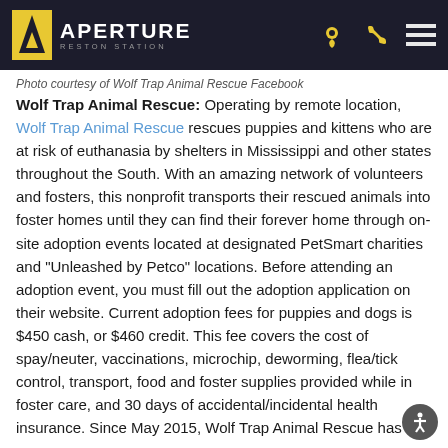APERTURE RESTON STATION
Photo courtesy of Wolf Trap Animal Rescue Facebook
Wolf Trap Animal Rescue: Operating by remote location, Wolf Trap Animal Rescue rescues puppies and kittens who are at risk of euthanasia by shelters in Mississippi and other states throughout the South. With an amazing network of volunteers and fosters, this nonprofit transports their rescued animals into foster homes until they can find their forever home through on-site adoption events located at designated PetSmart charities and "Unleashed by Petco" locations. Before attending an adoption event, you must fill out the adoption application on their website. Current adoption fees for puppies and dogs is $450 cash, or $460 credit. This fee covers the cost of spay/neuter, vaccinations, microchip, deworming, flea/tick control, transport, food and foster supplies provided while in foster care, and 30 days of accidental/incidental health insurance. Since May 2015, Wolf Trap Animal Rescue has